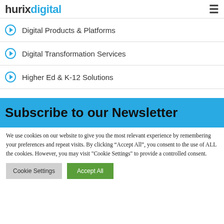hurixdigital
Digital Products & Platforms
Digital Transformation Services
Higher Ed & K-12 Solutions
Subscribe to our Newsletter
We use cookies on our website to give you the most relevant experience by remembering your preferences and repeat visits. By clicking “Accept All”, you consent to the use of ALL the cookies. However, you may visit "Cookie Settings" to provide a controlled consent.
Cookie Settings | Accept All